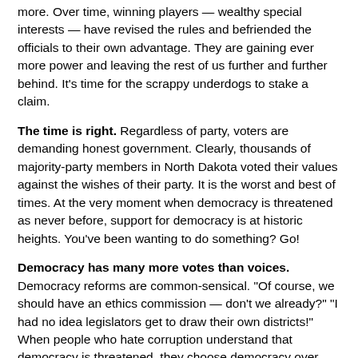more. Over time, winning players — wealthy special interests — have revised the rules and befriended the officials to their own advantage. They are gaining ever more power and leaving the rest of us further and further behind. It's time for the scrappy underdogs to stake a claim.
The time is right. Regardless of party, voters are demanding honest government. Clearly, thousands of majority-party members in North Dakota voted their values against the wishes of their party. It is the worst and best of times. At the very moment when democracy is threatened as never before, support for democracy is at historic heights. You've been wanting to do something? Go!
Democracy has many more votes than voices. Democracy reforms are common-sensical. "Of course, we should have an ethics commission — don't we already?" "I had no idea legislators get to draw their own districts!" When people who hate corruption understand that democracy is threatened, they choose democracy over party. Don't be discouraged. You are not alone.